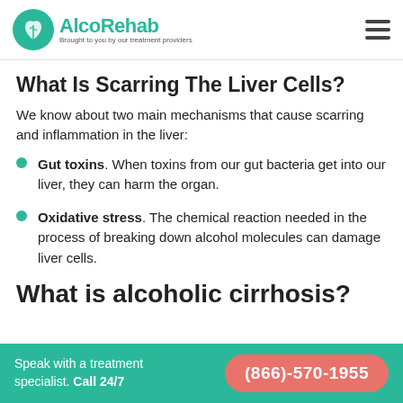AlcoRehab — Brought to you by our treatment providers
What Is Scarring The Liver Cells?
We know about two main mechanisms that cause scarring and inflammation in the liver:
Gut toxins. When toxins from our gut bacteria get into our liver, they can harm the organ.
Oxidative stress. The chemical reaction needed in the process of breaking down alcohol molecules can damage liver cells.
What is alcoholic cirrhosis?
Speak with a treatment specialist. Call 24/7  (866)-570-1955